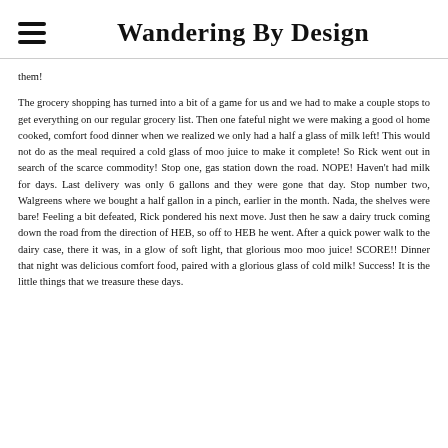Wandering By Design
them!
The grocery shopping has turned into a bit of a game for us and we had to make a couple stops to get everything on our regular grocery list. Then one fateful night we were making a good ol home cooked, comfort food dinner when we realized we only had a half a glass of milk left! This would not do as the meal required a cold glass of moo juice to make it complete! So Rick went out in search of the scarce commodity! Stop one, gas station down the road. NOPE! Haven't had milk for days. Last delivery was only 6 gallons and they were gone that day. Stop number two, Walgreens where we bought a half gallon in a pinch, earlier in the month. Nada, the shelves were bare! Feeling a bit defeated, Rick pondered his next move. Just then he saw a dairy truck coming down the road from the direction of HEB, so off to HEB he went. After a quick power walk to the dairy case, there it was, in a glow of soft light, that glorious moo moo juice! SCORE!! Dinner that night was delicious comfort food, paired with a glorious glass of cold milk! Success! It is the little things that we treasure these days.